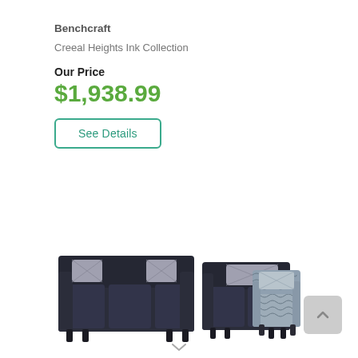Benchcraft
Creeal Heights Ink Collection
Our Price
$1,938.99
See Details
[Figure (photo): A three-piece dark navy blue living room furniture set: a large sofa on the left, a loveseat in the middle, and a patterned accent chair on the right. All pieces have decorative pillows.]